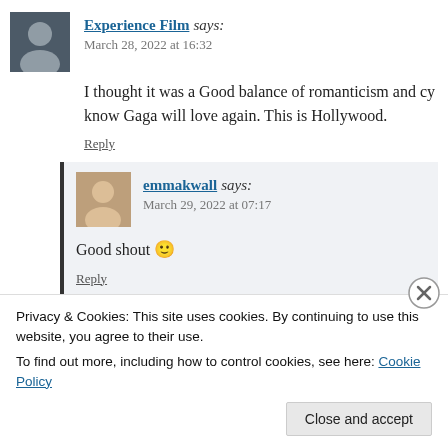Experience Film says:
March 28, 2022 at 16:32
I thought it was a Good balance of romanticism and cy... know Gaga will love again. This is Hollywood.
Reply
emmakwall says:
March 29, 2022 at 07:17
Good shout 🙂
Reply
Privacy & Cookies: This site uses cookies. By continuing to use this website, you agree to their use.
To find out more, including how to control cookies, see here: Cookie Policy
Close and accept